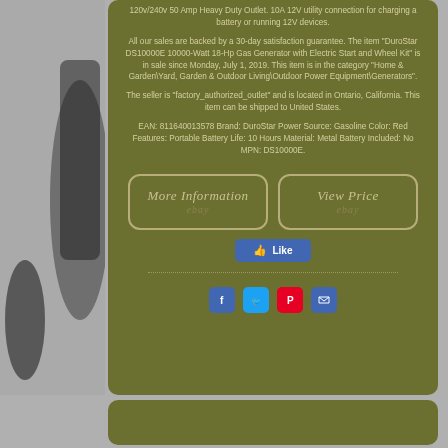120v/240v 50 Amp Heavy Duty Outlet. 10A 12V utility connection for charging a battery or running 12V devices.
All our sales are backed by a 30-day satisfaction guarantee. The item "DuroStar DS10000E 10000-Watt 18-Hp Gas Generator with Electric Start and Wheel Kit" is in sale since Monday, July 1, 2019. This item is in the category "Home & Garden\Yard, Garden & Outdoor Living\Outdoor Power Equipment\Generators".
The seller is "factory_authorized_outlet" and is located in Ontario, California. This item can be shipped to United States.
EAN: 811640013578 Brand: DuroStar Power Source: Gasoline Color: Red Features: Portable Battery Life: 10 Hours Material: Metal Battery Included: No MPN: DS10000E.
[Figure (other): More Information eBay button]
[Figure (other): View Price eBay button]
[Figure (other): Facebook Like button]
[Figure (other): Social sharing icons: Facebook, Twitter, Pinterest, Email]